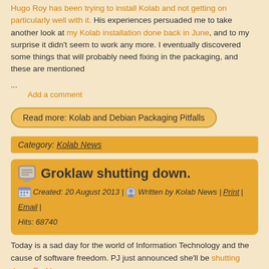Hugo Roy has been trying to install Kolab and not getting on particularly well with it. His experiences persuaded me to take another look at my Kolab installation done back in June, and to my surprise it didn't seem to work any more. I eventually discovered some things that will probably need fixing in the packaging, and these are mentioned
...
Add a comment
Read more: Kolab and Debian Packaging Pitfalls
Category: Kolab News
Groklaw shutting down.
Created: 20 August 2013 | Written by Kolab News | Print | Email | Hits: 68740
Today is a sad day for the world of Information Technology and the cause of software freedom. PJ just announced she'll be shutting down Groklaw.
It's hard to overestimate the role that Groklaw has played in the past years. Many of us, myself included, have worked with Groklaw over the years. I still take pride my article about the danger
...
Add a comment
Read more: Groklaw shutting down.